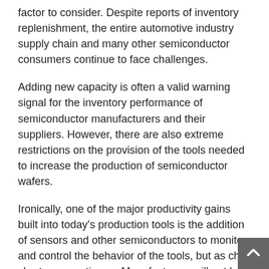factor to consider. Despite reports of inventory replenishment, the entire automotive industry supply chain and many other semiconductor consumers continue to face challenges.
Adding new capacity is often a valid warning signal for the inventory performance of semiconductor manufacturers and their suppliers. However, there are also extreme restrictions on the provision of the tools needed to increase the production of semiconductor wafers.
Ironically, one of the major productivity gains built into today's production tools is the addition of sensors and other semiconductors to monitor and control the behavior of the tools, but as chip shortages continue. , Manufacturers will not be able to produce the tools customers need to make the chips they need. .. So while Intel, TSMC, Texas Instruments and others have made big announcements about their multi-billion dollar investment in new semiconductor fabs, it can take a year or two to be produced. The integration and rising production costs ove